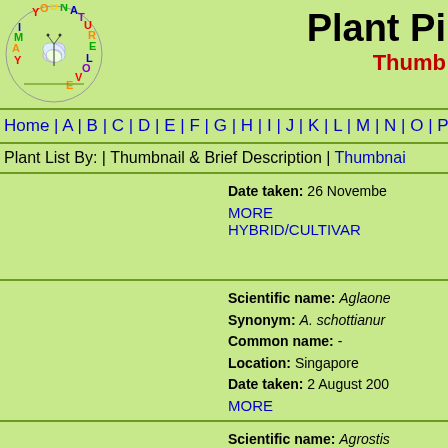[Figure (logo): YouNature Love circular logo with butterfly and colorful text]
Plant Pi... Thumb...
Home | A | B | C | D | E | F | G | H | I | J | K | L | M | N | O | P
Plant List By: | Thumbnail & Brief Description | Thumbnail
Date taken: 26 November ... MORE HYBRID/CULTIVAR
Scientific name: Aglaone... Synonym: A. schottianur... Common name: - Location: Singapore Date taken: 2 August 200... MORE
Scientific name: Agrostis... Synonym: A. intramargin... Common name: Leaf Li... Location: Singapore Date taken: 18 October 2... MORE